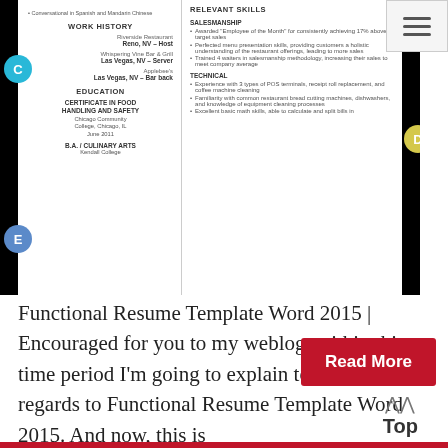≡
[Figure (screenshot): A functional resume template showing Work History section with Riverside Restaurant Reno NV - Host, Whispering Vine Bar & Grill Las Vegas NV - Server, Applebee's Las Vegas NV - Bar back; Education section with Certificate in Food Handling and Safety, Chicago Community College Chicago IL June 2011, B.A. / Culinary Arts, Kendal College; Relevant Skills section with Salesmanship and Technical subsections; labeled with circle badges C, D, E]
Functional Resume Template Word 2015 | Encouraged for you to my weblog, within this time period I'm going to explain to you with regards to Functional Resume Template Word 2015. And now, this is
Read More
Top